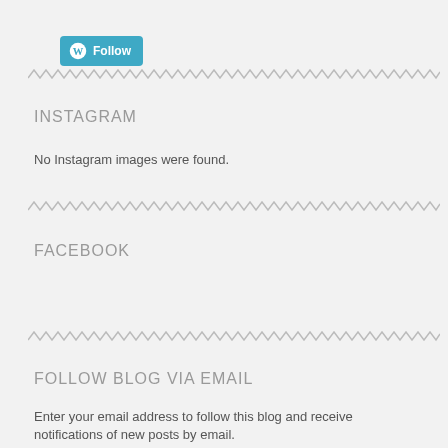[Figure (logo): WordPress Follow button with circular W logo in teal/blue color]
INSTAGRAM
No Instagram images were found.
FACEBOOK
FOLLOW BLOG VIA EMAIL
Enter your email address to follow this blog and receive notifications of new posts by email.